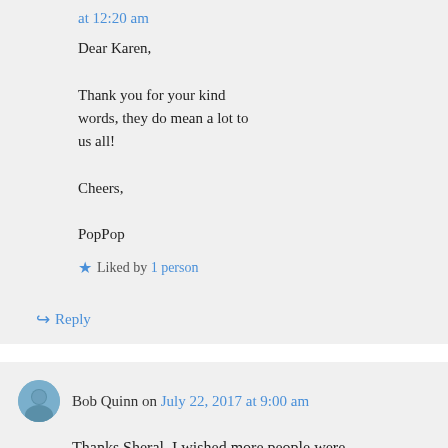at 12:20 am
Dear Karen,
Thank you for your kind words, they do mean a lot to us all!
Cheers,
PopPop
★ Liked by 1 person
↪ Reply
Bob Quinn on July 22, 2017 at 9:00 am
Thanks Sheral. I wished more people were like you